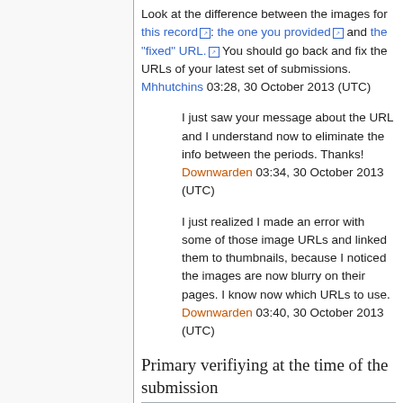Look at the difference between the images for this record: the one you provided and the "fixed" URL. You should go back and fix the URLs of your latest set of submissions. Mhhutchins 03:28, 30 October 2013 (UTC)
I just saw your message about the URL and I understand now to eliminate the info between the periods. Thanks! Downwarden 03:34, 30 October 2013 (UTC)
I just realized I made an error with some of those image URLs and linked them to thumbnails, because I noticed the images are now blurry on their pages. I know now which URLs to use. Downwarden 03:40, 30 October 2013 (UTC)
Primary verifiying at the time of the submission
If you're working from a book-in-hand when adding a new record, just check the first box under "Source of the data". This will automatically do a primary verification of the